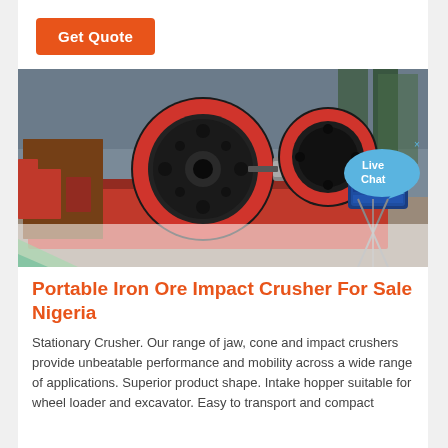Get Quote
[Figure (photo): Industrial iron ore impact crusher machine showing large red cylindrical rollers, a blue electric motor, and heavy steel frame in a factory/warehouse setting. A Live Chat bubble overlay appears at the right side.]
Portable Iron Ore Impact Crusher For Sale Nigeria
Stationary Crusher. Our range of jaw, cone and impact crushers provide unbeatable performance and mobility across a wide range of applications. Superior product shape. Intake hopper suitable for wheel loader and excavator. Easy to transport and compact